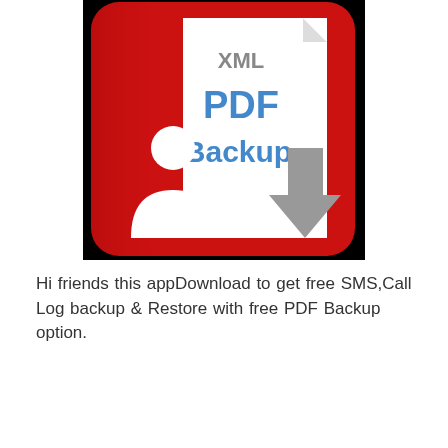[Figure (illustration): App icon showing a red rounded-rectangle background with a white document/page icon in the center. The document has a folded corner at top-right. Text on the document reads 'XML' in gray at top, 'PDF' in blue bold below, and 'Backup' in blue bold below that. A gray downward arrow is overlaid on the right side of the document. A white silhouette of a person (user icon) is in the lower-left area of the red background. The whole icon has a black border/shadow.]
Hi friends this appDownload to get free SMS,Call Log backup & Restore with free PDF Backup option.